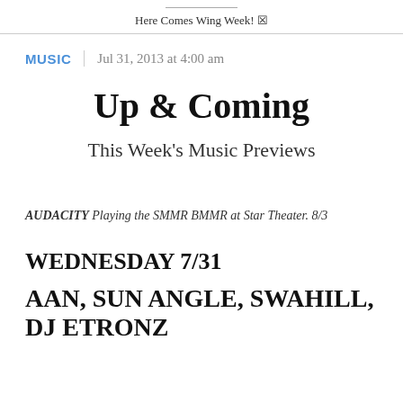Here Comes Wing Week! 🔲
MUSIC | Jul 31, 2013 at 4:00 am
Up & Coming
This Week's Music Previews
AUDACITY Playing the SMMR BMMR at Star Theater. 8/3
WEDNESDAY 7/31
AAN, SUN ANGLE, SWAHILL, DJ ETRONZ